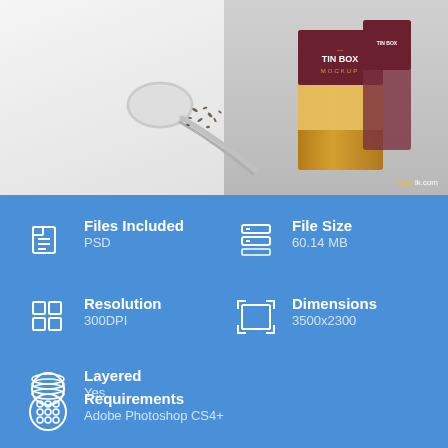[Figure (photo): Product mockup photo showing a tin box with loose tea leaves and a spoon on a two-tone gray/white surface]
Files Included
PSD
File Size
60.14 MB
Resolution
300DPI
Dimensions
3500x2300
Layered
Yes
Requirements
Adobe Photoshop CS4+